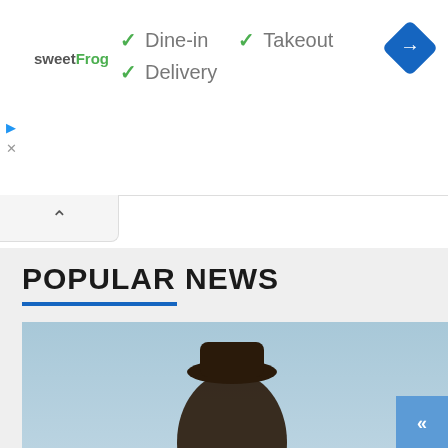[Figure (screenshot): Advertisement banner for sweetFrog with checkmarks showing Dine-in, Takeout, and Delivery options, plus a blue diamond navigation icon in the top right corner.]
POPULAR NEWS
[Figure (photo): A person riding a futuristic hoverboard (Lexus hoverboard) above the ground with green glowing elements underneath, outdoor scene with trees and mountains in background.]